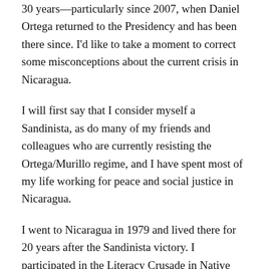30 years—particularly since 2007, when Daniel Ortega returned to the Presidency and has been there since. I'd like to take a moment to correct some misconceptions about the current crisis in Nicaragua.
I will first say that I consider myself a Sandinista, as do many of my friends and colleagues who are currently resisting the Ortega/Murillo regime, and I have spent most of my life working for peace and social justice in Nicaragua.
I went to Nicaragua in 1979 and lived there for 20 years after the Sandinista victory. I participated in the Literacy Crusade in Native Languages. During the war, I worked for the Nicaraguan Ministry of Health on the Caribbean Coast. I have been involved with the